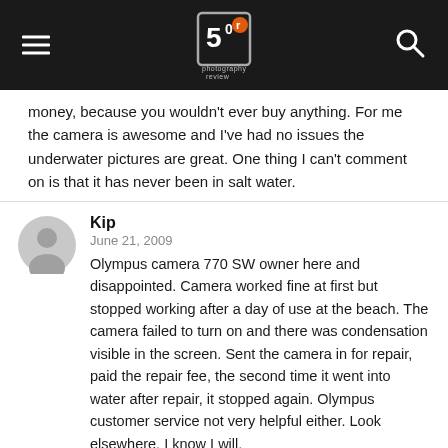Photography Review
money, because you wouldn't ever buy anything. For me the camera is awesome and I've had no issues the underwater pictures are great. One thing I can't comment on is that it has never been in salt water.
Kip
June 21, 2009
Olympus camera 770 SW owner here and disappointed. Camera worked fine at first but stopped working after a day of use at the beach. The camera failed to turn on and there was condensation visible in the screen. Sent the camera in for repair, paid the repair fee, the second time it went into water after repair, it stopped again. Olympus customer service not very helpful either. Look elsewhere. I know I will.
Blair
July 5, 2009